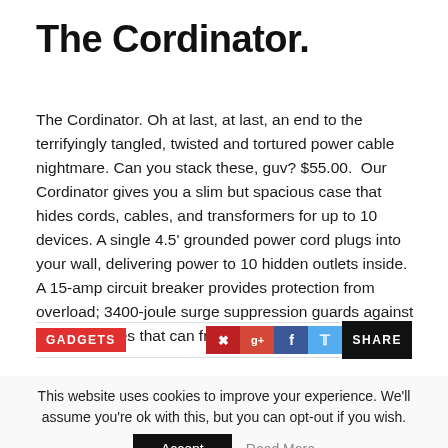The Cordinator.
The Cordinator. Oh at last, at last, an end to the terrifyingly tangled, twisted and tortured power cable nightmare. Can you stack these, guv? $55.00.  Our Cordinator gives you a slim but spacious case that hides cords, cables, and transformers for up to 10 devices. A single 4.5' grounded power cord plugs into your wall, delivering power to 10 hidden outlets inside. A 15-amp circuit breaker provides protection from overload; 3400-joule surge suppression guards against sudden spikes that can fry your…  Read More
GADGETS
This website uses cookies to improve your experience. We'll assume you're ok with this, but you can opt-out if you wish.
Accept  Read More